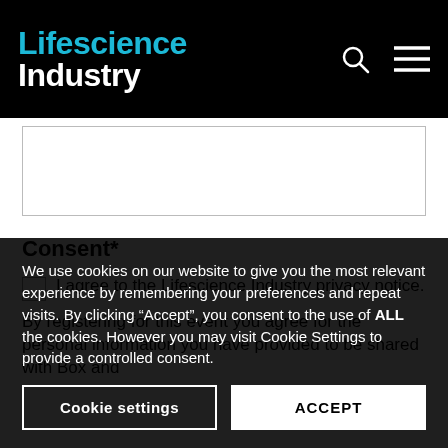Lifescience Industry
I agree to the Lifescience Industry privacy notice.
Consent*
By registering for this event you agree for the personal information you have provided to be shared with Box and
We use cookies on our website to give you the most relevant experience by remembering your preferences and repeat visits. By clicking “Accept”, you consent to the use of ALL the cookies. However you may visit Cookie Settings to provide a controlled consent.
Cookie settings | ACCEPT